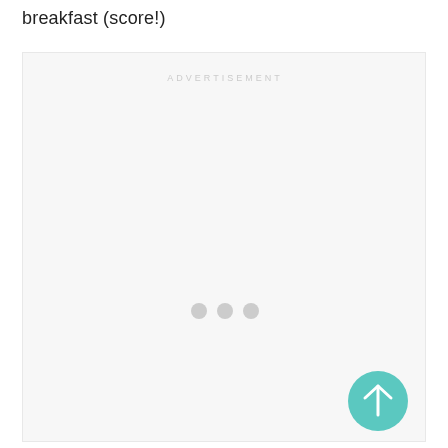breakfast (score!)
[Figure (other): Advertisement placeholder box with light gray background, the word ADVERTISEMENT centered at the top in light gray spaced letters, three small gray dots centered in the middle of the box, and a teal circular back-to-top arrow button in the bottom-right corner.]